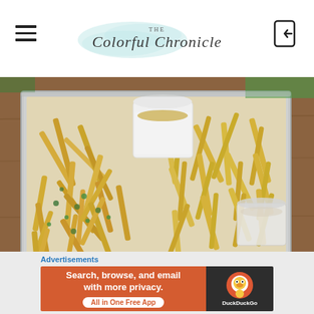The Colorful Chronicle
[Figure (photo): A metal tray covered with seasoned garlic fries and two dipping sauce cups, served on a wooden table]
What's a visit to Hopdoddy without their infamous shakes. My favorite is the nutella &
Advertisements
Search, browse, and email with more privacy.
All in One Free App
DuckDuckGo